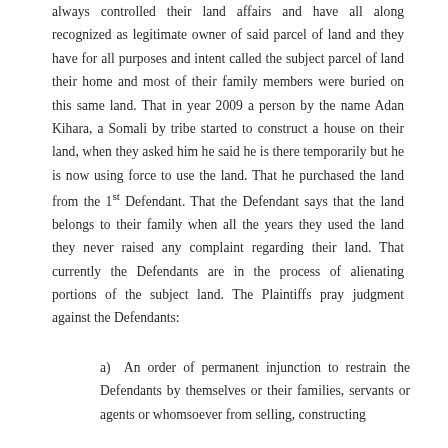always controlled their land affairs and have all along recognized as legitimate owner of said parcel of land and they have for all purposes and intent called the subject parcel of land their home and most of their family members were buried on this same land. That in year 2009 a person by the name Adan Kihara, a Somali by tribe started to construct a house on their land, when they asked him he said he is there temporarily but he is now using force to use the land. That he purchased the land from the 1st Defendant. That the Defendant says that the land belongs to their family when all the years they used the land they never raised any complaint regarding their land. That currently the Defendants are in the process of alienating portions of the subject land. The Plaintiffs pray judgment against the Defendants:
a) An order of permanent injunction to restrain the Defendants by themselves or their families, servants or agents or whomsoever from selling, constructing